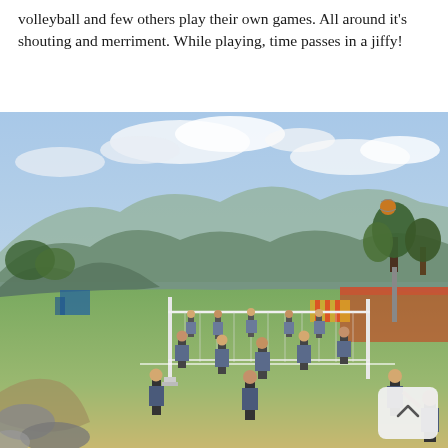volleyball and few others play their own games. All around it's shouting and merriment. While playing, time passes in a jiffy!
[Figure (photo): School children in uniforms (grey vests, white shirts, dark trousers) playing volleyball on an outdoor grass court with mountains and cloudy sky in the background. A volleyball net is set up, and a ball is visible in the air.]